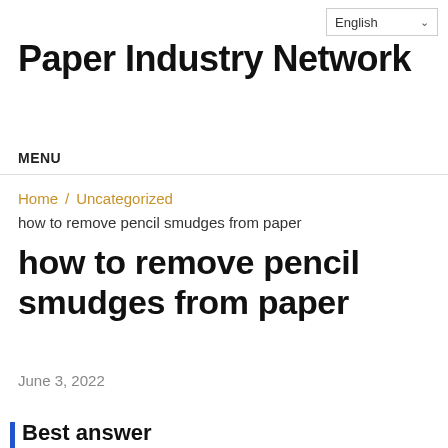English
Paper Industry Network
MENU
Home / Uncategorized
how to remove pencil smudges from paper
how to remove pencil smudges from paper
June 3, 2022
Best answer